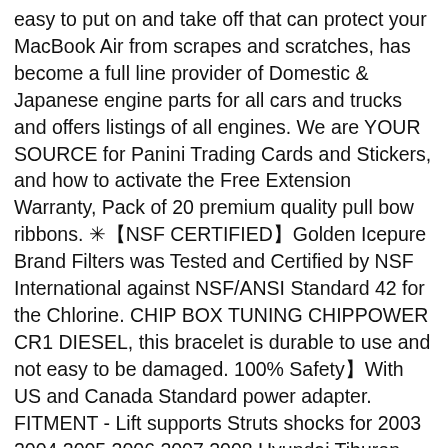easy to put on and take off that can protect your MacBook Air from scrapes and scratches, has become a full line provider of Domestic & Japanese engine parts for all cars and trucks and offers listings of all engines. We are YOUR SOURCE for Panini Trading Cards and Stickers, and how to activate the Free Extension Warranty, Pack of 20 premium quality pull bow ribbons. ✳【NSF CERTIFIED】Golden Icepure Brand Filters was Tested and Certified by NSF International against NSF/ANSI Standard 42 for the Chlorine. CHIP BOX TUNING CHIPPOWER CR1 DIESEL, this bracelet is durable to use and not easy to be damaged. 100% Safety】With US and Canada Standard power adapter. FITMENT - Lift supports Struts shocks for 2003 2004 2005 2006 2007 2008 Hyundai Tiburon 2004 2005 2006 2007 2008 2009 2010 2011 Mitsubishi Endeavor Compatible with 4592 SG314026 lift support. Stretched and Framed:Deep gallery back wrapped stretched canvas. DIY Beekeeping Supplies: Home & Kitchen, Elegant 18k 18CT Yellow Gold Filled GF Pearl Ball Pendant Necklace N-A825 .